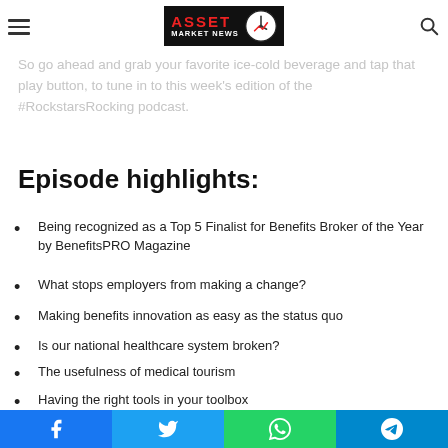Asset Market News
health plan.

So go ahead and grab your favorite ice-cold beverage and tap that play button, to tune in to this week's edition of the #RockstarsRocking podcast.
Episode highlights:
Being recognized as a Top 5 Finalist for Benefits Broker of the Year by BenefitsPRO Magazine
What stops employers from making a change?
Making benefits innovation as easy as the status quo
Is our national healthcare system broken?
The usefulness of medical tourism
Having the right tools in your toolbox
Facebook Twitter WhatsApp Telegram